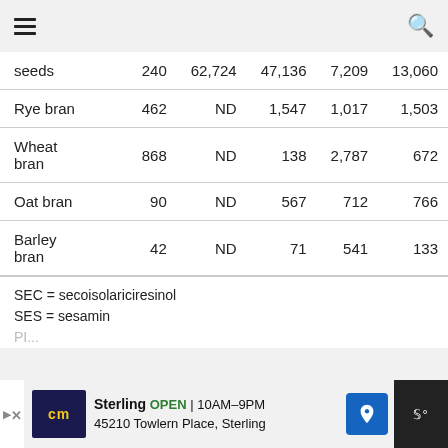≡ [hamburger menu] [search icon]
|  |  |  |  |  |  |
| --- | --- | --- | --- | --- | --- |
| seeds | 240 | 62,724 | 47,136 | 7,209 | 13,060 |
| Rye bran | 462 | ND | 1,547 | 1,017 | 1,503 |
| Wheat bran | 868 | ND | 138 | 2,787 | 672 |
| Oat bran | 90 | ND | 567 | 712 | 766 |
| Barley bran | 42 | ND | 71 | 541 | 133 |
SEC = secoisolariciresinol
SES = sesamin